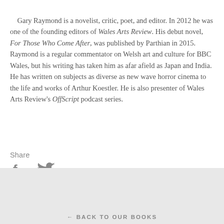Gary Raymond is a novelist, critic, poet, and editor. In 2012 he was one of the founding editors of Wales Arts Review. His debut novel, For Those Who Come After, was published by Parthian in 2015. Raymond is a regular commentator on Welsh art and culture for BBC Wales, but his writing has taken him as afar afield as Japan and India. He has written on subjects as diverse as new wave horror cinema to the life and works of Arthur Koestler. He is also presenter of Wales Arts Review's OffScript podcast series.
Share
[Figure (other): Social media share icons: Facebook (f) and Twitter (bird)]
← BACK TO OUR BOOKS